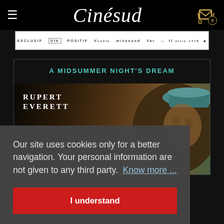Cinésud
[Figure (other): Press logos strip showing publication names: EXCLUSIF, GfK, POSITIF, Vocable, mixsound, Var, and others]
A MIDSUMMER NIGHT'S DREAM
[Figure (photo): Movie poster for A Midsummer Night's Dream featuring actor name RUPERT EVERETT in white text on dark background, with a figure wearing a hat on the right side]
Our site uses cookies only for a better navigation. Your personal information are not given to any third party. Know more ...
I understand